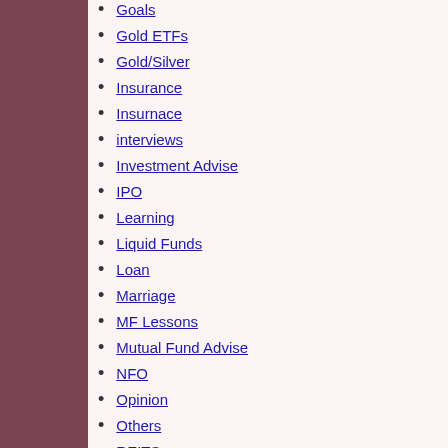Goals
Gold ETFs
Gold/Silver
Insurance
Insurnace
interviews
Investment Advise
IPO
Learning
Liquid Funds
Loan
Marriage
MF Lessons
Mutual Fund Advise
NFO
Opinion
Others
REITS
Retirement
Savings